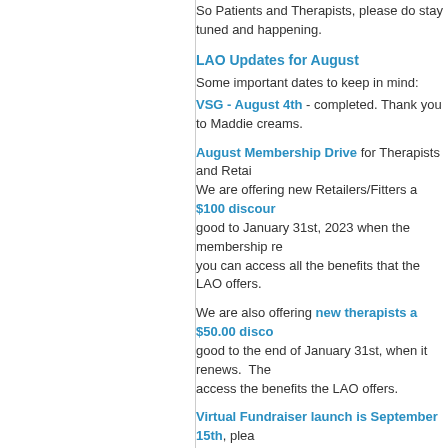So Patients and Therapists, please do stay tuned and happening.
LAO Updates for August
Some important dates to keep in mind:
VSG - August 4th - completed. Thank you to Maddie creams.
August Membership Drive for Therapists and Retailers/Fitters. We are offering new Retailers/Fitters a $100 discount good to January 31st, 2023 when the membership re... you can access all the benefits that the LAO offers.
We are also offering new therapists a $50.00 discount good to the end of January 31st, when it renews. The access the benefits the LAO offers.
Virtual Fundraiser launch is September 15th, plea...